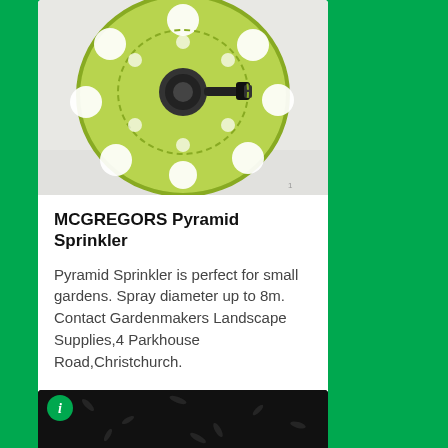[Figure (photo): Top-down view of a green round pyramid sprinkler with circular holes and a central black connector nozzle, photographed against a white/light background]
MCGREGORS Pyramid Sprinkler
Pyramid Sprinkler is perfect for small gardens. Spray diameter up to 8m. Contact Gardenmakers Landscape Supplies,4 Parkhouse Road,Christchurch.
Create Order
From $6.00
[Figure (photo): Partial view of a dark/black grass seed product card with a green info badge icon in the top left corner]